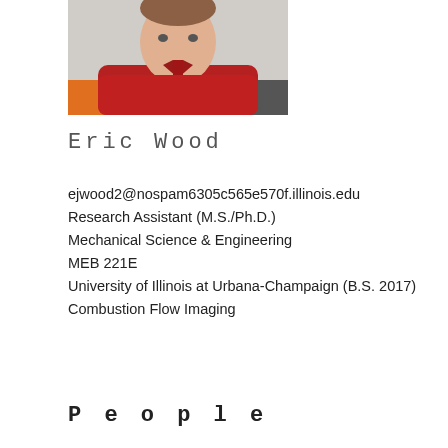[Figure (photo): Headshot photo of Eric Wood, a young man wearing a red polo shirt, seated indoors with an orange chair visible in the background.]
Eric Wood
ejwood2@nospam6305c565e570f.illinois.edu
Research Assistant (M.S./Ph.D.)
Mechanical Science & Engineering
MEB 221E
University of Illinois at Urbana-Champaign (B.S. 2017)
Combustion Flow Imaging
People